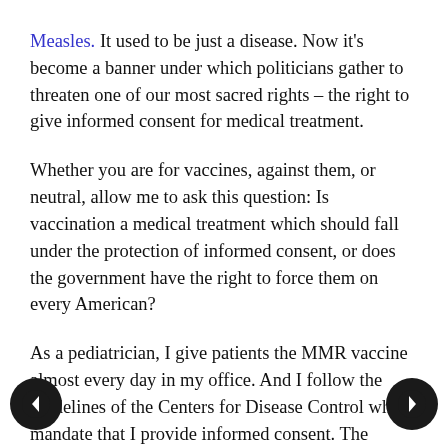Measles. It used to be just a disease. Now it's become a banner under which politicians gather to threaten one of our most sacred rights – the right to give informed consent for medical treatment.
Whether you are for vaccines, against them, or neutral, allow me to ask this question: Is vaccination a medical treatment which should fall under the protection of informed consent, or does the government have the right to force them on every American?
As a pediatrician, I give patients the MMR vaccine almost every day in my office. And I follow the guidelines of the Centers for Disease Control which mandate that I provide informed consent. The American Medical